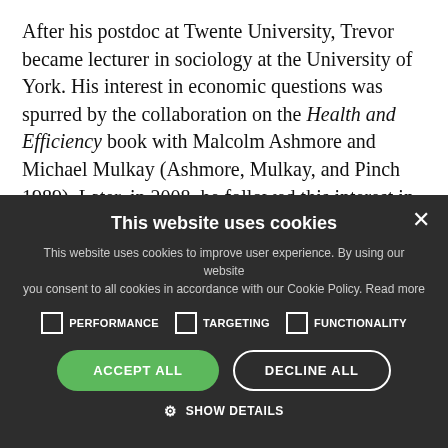After his postdoc at Twente University, Trevor became lecturer in sociology at the University of York. His interest in economic questions was spurred by the collaboration on the Health and Efficiency book with Malcolm Ashmore and Michael Mulkay (Ashmore, Mulkay, and Pinch 1989). Later, in 2008, he followed this interest in developing an economic sociology cum STS perspective in his collaboration with Richard Svedberg (Pinch and Svedberg 2008). In 1990, Trevor moved to Cornell
[Figure (screenshot): Cookie consent overlay on a dark background with title 'This website uses cookies', explanatory text, three checkboxes (PERFORMANCE, TARGETING, FUNCTIONALITY), two buttons (ACCEPT ALL, DECLINE ALL), and a SHOW DETAILS link with gear icon. Close button (×) in top right.]